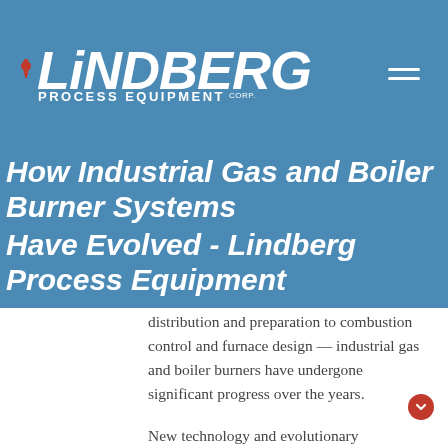[Figure (logo): Lindberg Process Equipment Corp. logo in white on blue header bar, with hamburger menu icon on the right]
How Industrial Gas and Boiler Burner Systems Have Evolved - Lindberg Process Equipment
distribution and preparation to combustion control and furnace design — industrial gas and boiler burners have undergone significant progress over the years.
New technology and evolutionary engineering has created immense changes over the past 50 years or so, creating longer-lasting, sustainable, and efficient boiler systems.